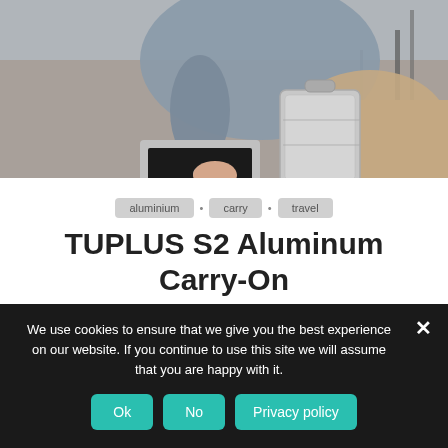[Figure (photo): Person reaching into a silver aluminum carry-on luggage while sitting at an outdoor table with a laptop]
aluminium · carry · travel
TUPLUS S2 Aluminum Carry-On 16”
TUPLUS S2, a compact carry-on goes beyond your expectations. Designed to delight your every trip...
We use cookies to ensure that we give you the best experience on our website. If you continue to use this site we will assume that you are happy with it.
Ok · No · Privacy policy